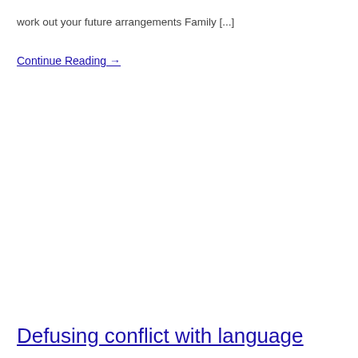work out your future arrangements Family [...]
Continue Reading →
Defusing conflict with language